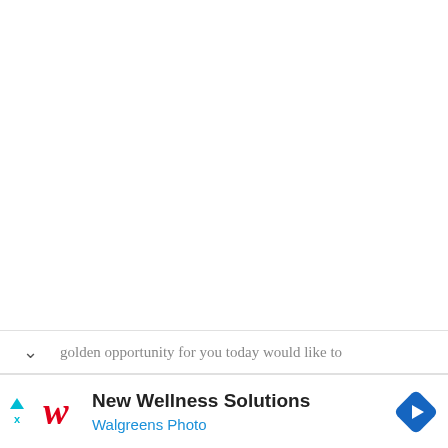golden opportunity for you today would like to
[Figure (screenshot): Walgreens advertisement banner showing 'New Wellness Solutions' with Walgreens Photo subtitle, Walgreens cursive W logo on the left, and a blue diamond-shaped navigation arrow icon on the right. Small cyan triangle and X icons on the far left margin.]